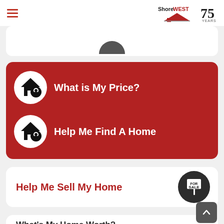ShoreWest 75 Years
[Figure (illustration): Partially visible white card at top of screen]
What is My Price?
Help Me Find A Home
Help Me Sell My Home
What's My Home Worth?
Get A Home Value